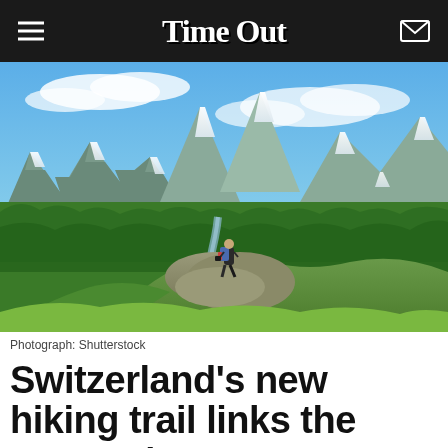Time Out
[Figure (photo): A hiker with a backpack standing on a rocky outcrop overlooking a dramatic Swiss alpine valley with glaciers, rivers, forests, and snow-capped mountain peaks under a blue sky with clouds.]
Photograph: Shutterstock
Switzerland's new hiking trail links the country's most